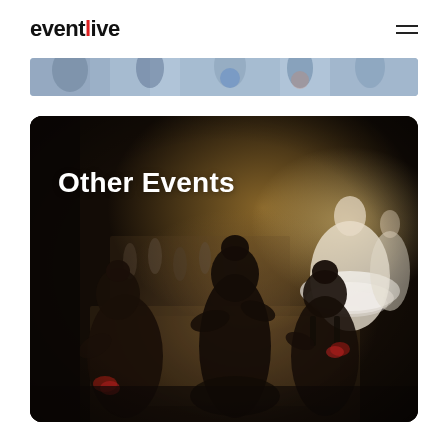eventlive
[Figure (photo): Partial strip photo of people dancing or at an event, cropped at top]
[Figure (photo): Photo of silhouetted young ballet dancers watching a performance backstage with warm stage lighting and a dancer in white tutu visible in background, with overlay text 'Other Events']
Other Events